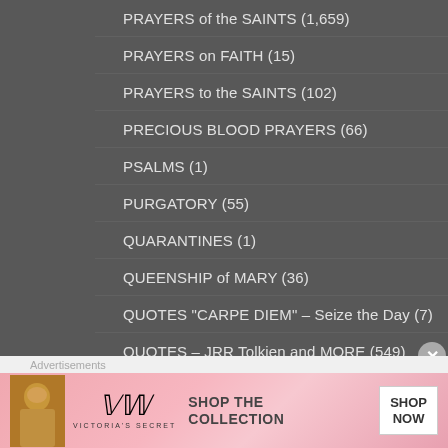PRAYERS of the SAINTS (1,659)
PRAYERS on FAITH (15)
PRAYERS to the SAINTS (102)
PRECIOUS BLOOD PRAYERS (66)
PSALMS (1)
PURGATORY (55)
QUARANTINES (1)
QUEENSHIP of MARY (36)
QUOTES "CARPE DIEM" – Seize the Day (7)
QUOTES – JRR Tolkien and MORE (549)
QUOTES for CHRIST (370)
Advertisements
[Figure (photo): Victoria's Secret advertisement banner with a woman's photo, VS logo, 'SHOP THE COLLECTION' text, and 'SHOP NOW' button]